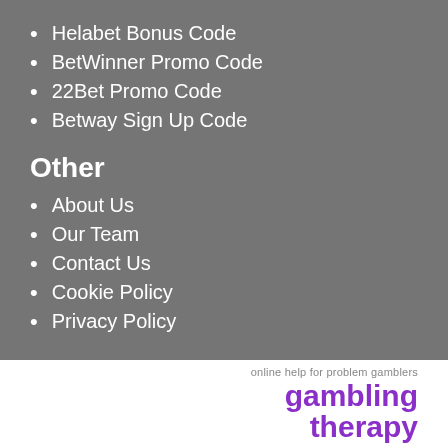Helabet Bonus Code
BetWinner Promo Code
22Bet Promo Code
Betway Sign Up Code
Other
About Us
Our Team
Contact Us
Cookie Policy
Privacy Policy
[Figure (logo): Gambling Therapy logo with tagline 'online help for problem gamblers' and bold purple text 'gambling therapy']